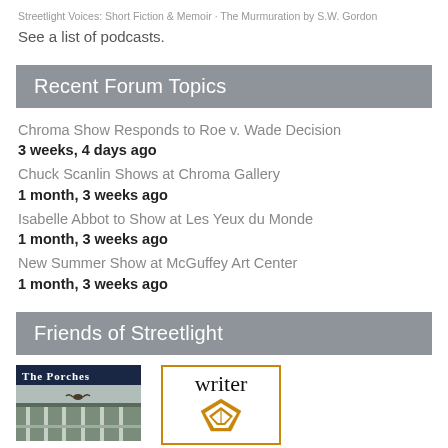Streetlight Voices: Short Fiction & Memoir · The Murmuration by S.W. Gordon
See a list of podcasts.
Recent Forum Topics
Chroma Show Responds to Roe v. Wade Decision
3 weeks, 4 days ago
Chuck Scanlin Shows at Chroma Gallery
1 month, 3 weeks ago
Isabelle Abbot to Show at Les Yeux du Monde
1 month, 3 weeks ago
New Summer Show at McGuffey Art Center
1 month, 3 weeks ago
Friends of Streetlight
[Figure (photo): The Porches - photo of a porch building with text overlay]
[Figure (logo): Writer with pen nib icon logo with orange border]